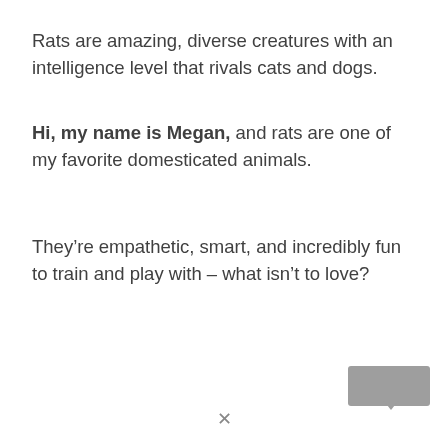Rats are amazing, diverse creatures with an intelligence level that rivals cats and dogs.
Hi, my name is Megan, and rats are one of my favorite domesticated animals.
They’re empathetic, smart, and incredibly fun to train and play with – what isn’t to love?